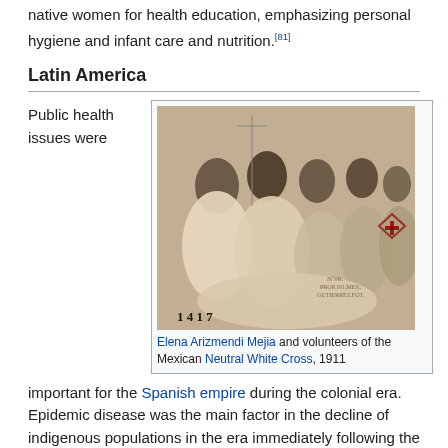native women for health education, emphasizing personal hygiene and infant care and nutrition.[81]
Latin America
Public health issues were
[Figure (photo): Historical sepia photograph numbered 1417 showing Elena Arizmendi Mejia and volunteers of the Mexican Neutral White Cross, 1911. Multiple women in white clothing attending to a patient.]
Elena Arizmendi Mejia and volunteers of the Mexican Neutral White Cross, 1911
important for the Spanish empire during the colonial era. Epidemic disease was the main factor in the decline of indigenous populations in the era immediately following the sixteenth-century conquest era and was a problem during the colonial era. The